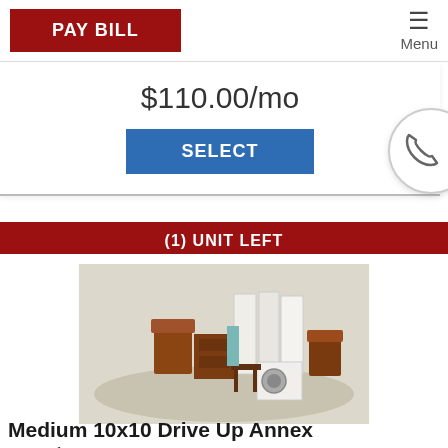PAY BILL | Menu
$110.00/mo
SELECT
(1) UNIT LEFT
[Figure (illustration): 3D illustration of a medium storage unit showing furniture and boxes packed inside]
Medium 10x10 Drive Up Annex
100 Sq ft
Valley Storage - Martinsburg